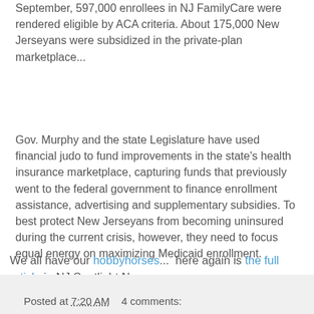September, 597,000 enrollees in NJ FamilyCare were rendered eligible by ACA criteria. About 175,000 New Jerseyans were subsidized in the private-plan marketplace...
Gov. Murphy and the state Legislature have used financial judo to fund improvements in the state's health insurance marketplace, capturing funds that previously went to the federal government to finance enrollment assistance, advertising and supplementary subsidies. To best protect New Jerseyans from becoming uninsured during the current crisis, however, they need to focus equal energy on maximizing Medicaid enrollment.
We all have our hobbyhorses...  here again is the full article in NJ Spotlight News.
Subscribe to xpostfactoid
Posted at 7:20 AM    4 comments: